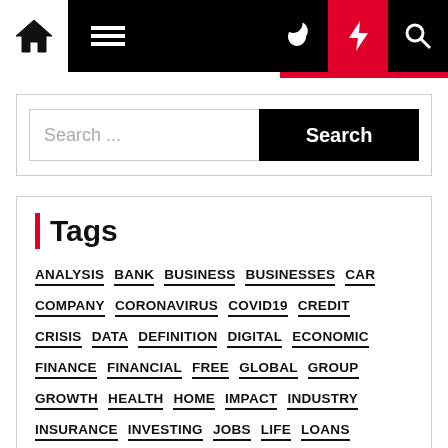Navigation bar with home, menu, moon, lightning, search icons
Search ...
Tags
ANALYSIS
BANK
BUSINESS
BUSINESSES
CAR
COMPANY
CORONAVIRUS
COVID19
CREDIT
CRISIS
DATA
DEFINITION
DIGITAL
ECONOMIC
FINANCE
FINANCIAL
FREE
GLOBAL
GROUP
GROWTH
HEALTH
HOME
IMPACT
INDUSTRY
INSURANCE
INVESTING
JOBS
LIFE
LOANS
MARKET
MONEY
NEWS
ONLINE
PANDEMIC